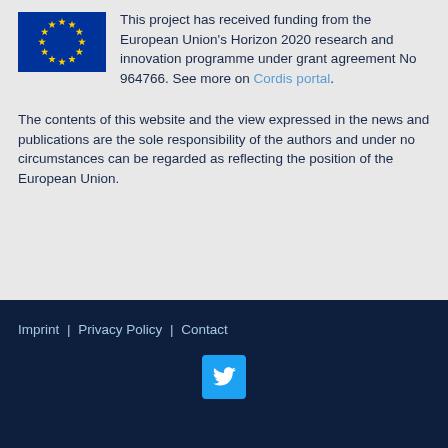[Figure (logo): EU flag — blue background with circle of 12 yellow stars]
This project has received funding from the European Union's Horizon 2020 research and innovation programme under grant agreement No 964766. See more on Cordis portal.
The contents of this website and the view expressed in the news and publications are the sole responsibility of the authors and under no circumstances can be regarded as reflecting the position of the European Union.
Imprint | Privacy Policy | Contact
[Figure (logo): Twitter bird icon on a cyan/blue rounded square button]